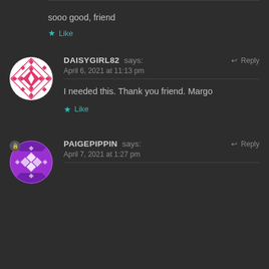sooo good, friend
★ Like
DAISYGIRL82 says:
April 6, 2021 at 11:13 pm
↩ Reply
I needed this. Thank you friend. Margo
★ Like
PAIGEPIPPIN says:
April 7, 2021 at 1:27 pm
↩ Reply